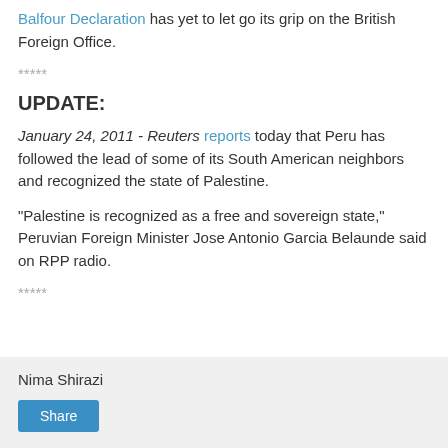Balfour Declaration has yet to let go its grip on the British Foreign Office.
*****
UPDATE:
January 24, 2011 - Reuters reports today that Peru has followed the lead of some of its South American neighbors and recognized the state of Palestine.
"Palestine is recognized as a free and sovereign state," Peruvian Foreign Minister Jose Antonio Garcia Belaunde said on RPP radio.
*****
Nima Shirazi
Share